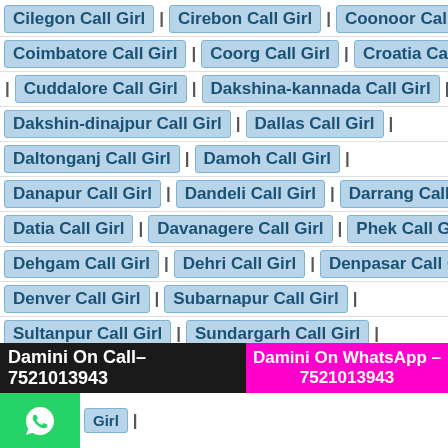Cilegon Call Girl | Cirebon Call Girl | Coonoor Call Girl
Coimbatore Call Girl | Coorg Call Girl | Croatia Call Girl
| Cuddalore Call Girl | Dakshina-kannada Call Girl |
Dakshin-dinajpur Call Girl | Dallas Call Girl |
Daltonganj Call Girl | Damoh Call Girl |
Danapur Call Girl | Dandeli Call Girl | Darrang Call Girl |
Datia Call Girl | Davanagere Call Girl | Phek Call Girl |
Dehgam Call Girl | Dehri Call Girl | Denpasar Call Girl |
Denver Call Girl | Subarnapur Call Girl |
Sultanpur Call Girl | Sundargarh Call Girl |
Supaul Call Girl | Surabaya Call Girl |
Surakarta Call Girl | Surguja Call Girl |
Tanakpur Call Girl | Tanda Call Girl |
Tara-nagar Call Girl | Tasikmalaya Call Girl |
Damini On Call– 7521013943 | Damini On WhatsApp – 7521013943